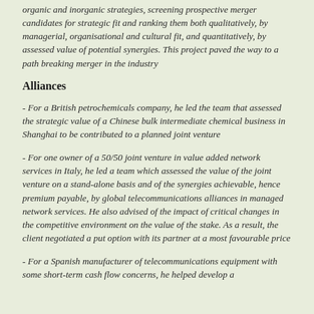organic and inorganic strategies, screening prospective merger candidates for strategic fit and ranking them both qualitatively, by managerial, organisational and cultural fit, and quantitatively, by assessed value of potential synergies.  This project paved the way to a path breaking merger in the industry
Alliances
- For a British petrochemicals company, he led the team that assessed the strategic value of a Chinese bulk intermediate chemical business in Shanghai to be contributed to a planned joint venture
- For one owner of a 50/50 joint venture in value added network services in Italy, he led a team which assessed the value of the joint venture on a stand-alone basis and of the synergies achievable, hence premium payable, by global telecommunications alliances in managed network services.  He also advised of the impact of critical changes in the competitive environment on the value of the stake.  As a result, the client negotiated a put option with its partner at a most favourable price
- For a Spanish manufacturer of telecommunications equipment with some short-term cash flow concerns, he helped develop a